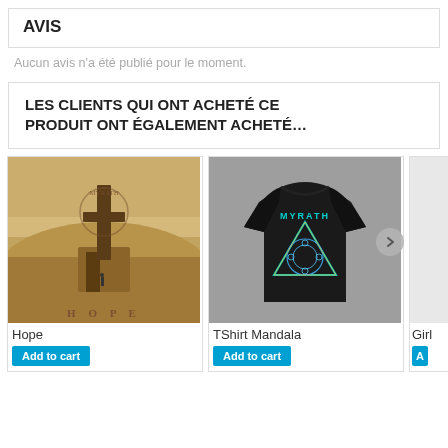AVIS
Aucun avis n'a été publié pour le moment.
LES CLIENTS QUI ONT ACHETÉ CE PRODUIT ONT ÉGALEMENT ACHETÉ…
[Figure (photo): Album cover for 'Hope' by Myrath - desert landscape with a figure]
Hope
Add to cart
[Figure (photo): Black TShirt Mandala by Myrath with triangular mandala design]
TShirt Mandala
Add to cart
Girl
A